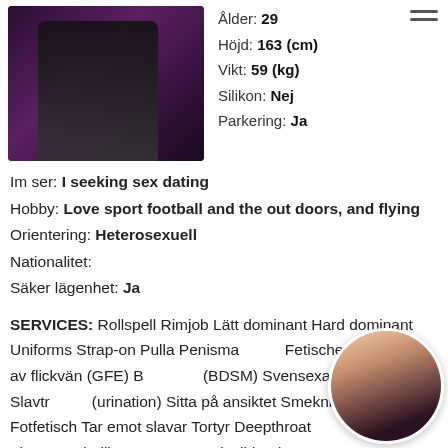[Figure (photo): Photo of a woman in black lingerie on left; circular thumbnail photo of a woman with light hair on bottom right]
Ålder: 29
Höjd: 163 (cm)
Vikt: 59 (kg)
Silikon: Nej
Parkering: Ja
Im ser: I seeking sex dating
Hobby: Love sport football and the out doors, and flying
Orientering: Heterosexuell
Nationalitet:
Säker lägenhet: Ja
SERVICES: Rollspell Rimjob Lätt dominant Hard dominant Uniforms Strap-on Pulla Penismassage Fetischer Erfarenhet av flickvän (GFE) BDsm (BDSM) Svensexa Roll förändras Slavträning (urination) Sitta på ansiktet Smekning Kyssar Fotfetisch Tar emot slavar Tortyr Deepthroat (djupt i halsen) Fista Dusch tillsammans Onani Glidande